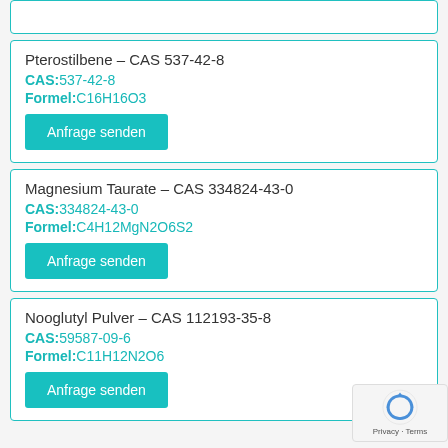Pterostilbene – CAS 537-42-8
CAS:537-42-8
Formel:C16H16O3
Anfrage senden
Magnesium Taurate – CAS 334824-43-0
CAS:334824-43-0
Formel:C4H12MgN2O6S2
Anfrage senden
Nooglutyl Pulver – CAS 112193-35-8
CAS:59587-09-6
Formel:C11H12N2O6
Anfrage senden